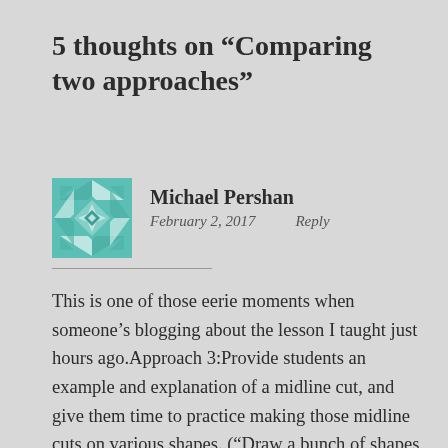5 thoughts on “Comparing two approaches”
Michael Pershan
February 2, 2017    Reply
This is one of those eerie moments when someone's blogging about the lesson I taught just hours ago.Approach 3:Provide students an example and explanation of a midline cut, and give them time to practice making those midline cuts on various shapes. (“Draw a bunch of shapes with H Picciotto’s Shape Tracer tool, and then draw the midline cuts”) Then I…